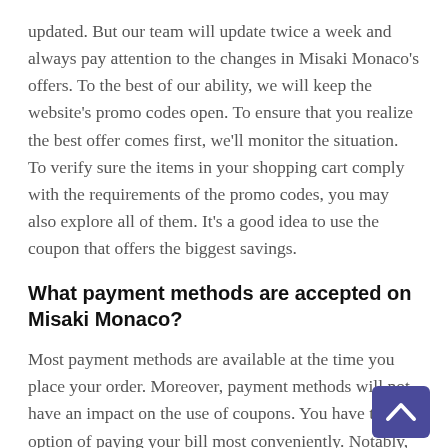updated. But our team will update twice a week and always pay attention to the changes in Misaki Monaco's offers. To the best of our ability, we will keep the website's promo codes open. To ensure that you realize the best offer comes first, we'll monitor the situation. To verify sure the items in your shopping cart comply with the requirements of the promo codes, you may also explore all of them. It's a good idea to use the coupon that offers the biggest savings.
What payment methods are accepted on Misaki Monaco?
Most payment methods are available at the time you place your order. Moreover, payment methods will not have an impact on the use of coupons. You have the option of paying your bill most conveniently. Notably, additional reductions are sometimes available for spe… payment methods. The latest discount information will be